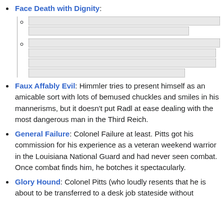Face Death with Dignity:
[redacted sub-items]
Faux Affably Evil: Himmler tries to present himself as an amicable sort with lots of bemused chuckles and smiles in his mannerisms, but it doesn't put Radl at ease dealing with the most dangerous man in the Third Reich.
General Failure: Colonel Failure at least. Pitts got his commission for his experience as a veteran weekend warrior in the Louisiana National Guard and had never seen combat. Once combat finds him, he botches it spectacularly.
Glory Hound: Colonel Pitts (who loudly resents that he is about to be transferred to a desk job stateside without